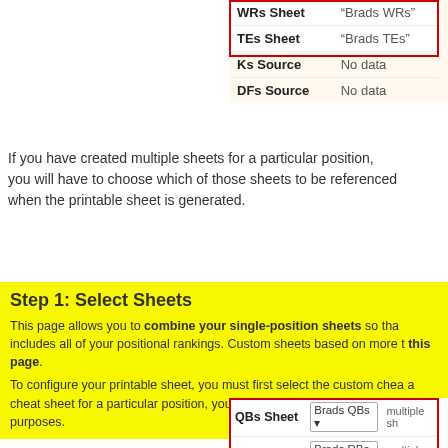| Sheet/Source | Value |
| --- | --- |
| WRs Sheet | "Brads WRs" |
| TEs Sheet | "Brads TEs" |
| Ks Source | No data |
| DFs Source | No data |
If you have created multiple sheets for a particular position, you will have to choose which of those sheets to be referenced when the printable sheet is generated.
Step 1: Select Sheets
This page allows you to combine your single-position sheets so that includes all of your positional rankings. Custom sheets based on more this page.
To configure your printable sheet, you must first select the custom chea a cheat sheet for a particular position, you must choose an expert ra purposes.
| Sheet | Value | Note |
| --- | --- | --- |
| QBs Sheet | Brads QBs | multiple sh |
| RBs Sheet | Brads RBs | multiple sh |
| WRs Sheet | "Brads WRs" |  |